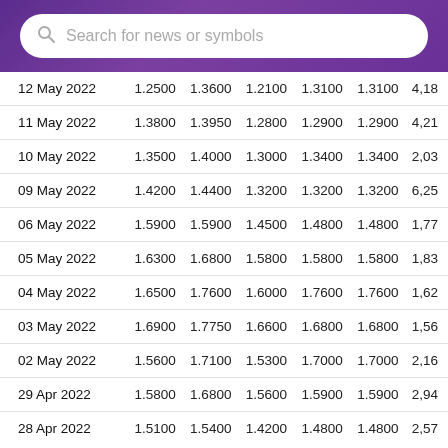Search for news or symbols
| Date | Open | High | Low | Close | Adj Close | Volume |
| --- | --- | --- | --- | --- | --- | --- |
| 12 May 2022 | 1.2500 | 1.3600 | 1.2100 | 1.3100 | 1.3100 | 4,18 |
| 11 May 2022 | 1.3800 | 1.3950 | 1.2800 | 1.2900 | 1.2900 | 4,21 |
| 10 May 2022 | 1.3500 | 1.4000 | 1.3000 | 1.3400 | 1.3400 | 2,03 |
| 09 May 2022 | 1.4200 | 1.4400 | 1.3200 | 1.3200 | 1.3200 | 6,25 |
| 06 May 2022 | 1.5900 | 1.5900 | 1.4500 | 1.4800 | 1.4800 | 1,77 |
| 05 May 2022 | 1.6300 | 1.6800 | 1.5800 | 1.5800 | 1.5800 | 1,83 |
| 04 May 2022 | 1.6500 | 1.7600 | 1.6000 | 1.7600 | 1.7600 | 1,62 |
| 03 May 2022 | 1.6900 | 1.7750 | 1.6600 | 1.6800 | 1.6800 | 1,56 |
| 02 May 2022 | 1.5600 | 1.7100 | 1.5300 | 1.7000 | 1.7000 | 2,16 |
| 29 Apr 2022 | 1.5800 | 1.6800 | 1.5600 | 1.5900 | 1.5900 | 2,94 |
| 28 Apr 2022 | 1.5100 | 1.5400 | 1.4200 | 1.4800 | 1.4800 | 2,57 |